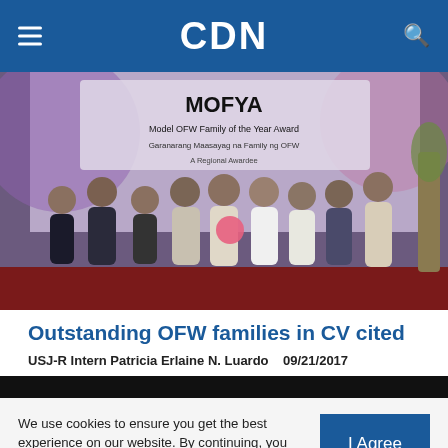CDN
[Figure (photo): Group photo of OFW award recipients and officials standing in front of a 'Model OFW Family of the Year Award' banner. Several people in formal attire, one woman holding a bouquet of flowers.]
Outstanding OFW families in CV cited
USJ-R Intern Patricia Erlaine N. Luardo   09/21/2017
We use cookies to ensure you get the best experience on our website. By continuing, you are agreeing to our use of cookies. To find out more, please click this link.